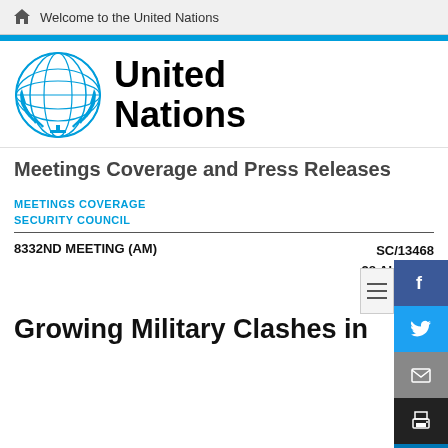Welcome to the United Nations
[Figure (logo): United Nations emblem and wordmark logo in blue]
Meetings Coverage and Press Releases
MEETINGS COVERAGE
SECURITY COUNCIL
8332ND MEETING (AM)    SC/13468    28 AUGUST 2018
Growing Military Clashes in